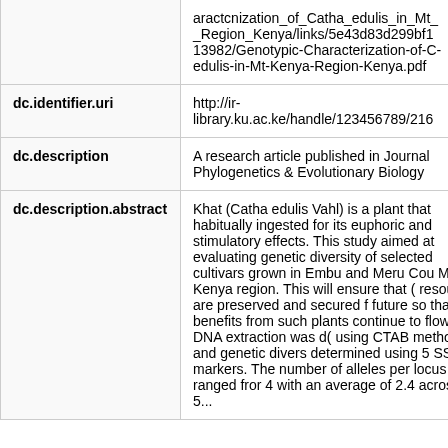| Field | Value |
| --- | --- |
|  | aractcnization_of_Catha_edulis_in_Mt__Region_Kenya/links/5e43d83d299bf113982/Genotypic-Characterization-of-C-edulis-in-Mt-Kenya-Region-Kenya.pdf |
| dc.identifier.uri | http://ir-library.ku.ac.ke/handle/123456789/216 |
| dc.description | A research article published in Journal Phylogenetics & Evolutionary Biology |
| dc.description.abstract | Khat (Catha edulis Vahl) is a plant that habitually ingested for its euphoric and stimulatory effects. This study aimed at evaluating genetic diversity of selected cultivars grown in Embu and Meru Cou Mt Kenya region. This will ensure that ( resources are preserved and secured f future so that benefits from such plants continue to flow. DNA extraction was d( using CTAB method and genetic divers determined using 5 SSR markers. The number of alleles per locus ranged fror 4 with an average of 2.4 across the 5... |